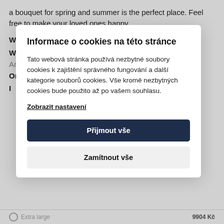a bouquet for spring and summer is the perfect place. Feel free to make your loved ones happy.
When we deliver: Today (within 90 minutes)
Where we deliver: Anywhere in the Czech Republic, Slovakia and Prague
Origin: Holland
Informace o cookies na této stránce
Tato webová stránka používá nezbytné soubory cookies k zajištění správného fungování a další kategorie souborů cookies. Vše kromě nezbytných cookies bude použito až po vašem souhlasu.
Zobrazit nastavení
Přijmout vše
Zamítnout vše
Extra large   9904 Kč